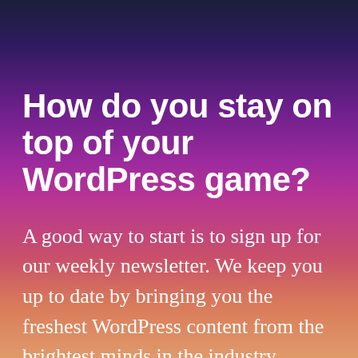How do you stay on top of your WordPress game?
A good way to start is to sign up for our weekly newsletter. We keep you up to date by bringing you the freshest WordPress content from the brightest minds in the industry.